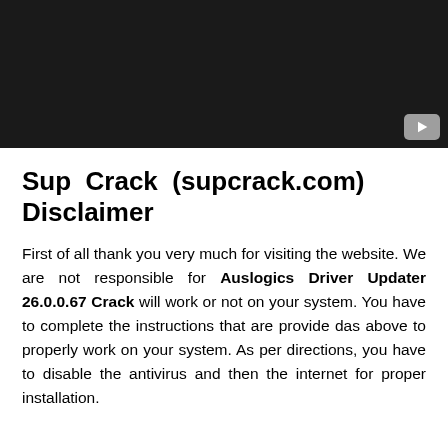[Figure (screenshot): Black video player thumbnail with a YouTube play button icon in the bottom-right corner]
Sup Crack (supcrack.com) Disclaimer
First of all thank you very much for visiting the website. We are not responsible for Auslogics Driver Updater 26.0.0.67 Crack will work or not on your system. You have to complete the instructions that are provide das above to properly work on your system. As per directions, you have to disable the antivirus and then the internet for proper installation.